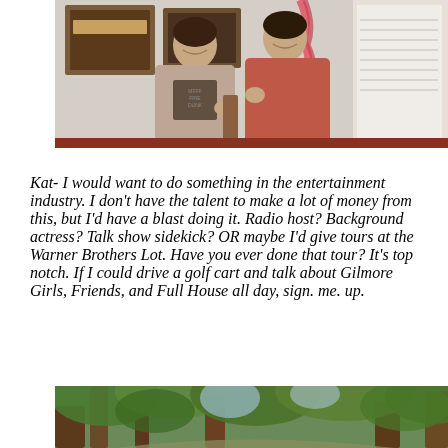[Figure (photo): Two women smiling and posing together indoors, one wearing a fuzzy sweater and one in a red/salmon top, with a tinsel garland and framed artwork visible in the background.]
Kat- I would want to do something in the entertainment industry. I don't have the talent to make a lot of money from this, but I'd have a blast doing it. Radio host? Background actress? Talk show sidekick? OR maybe I'd give tours at the Warner Brothers Lot. Have you ever done that tour? It's top notch. If I could drive a golf cart and talk about Gilmore Girls, Friends, and Full House all day, sign. me. up.
[Figure (photo): Outdoor photo showing large trees with green foliage and a path, possibly a park or wooded area.]